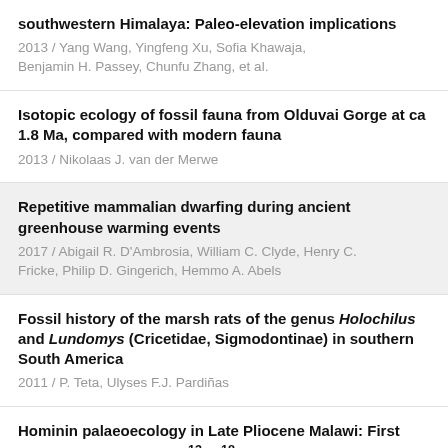southwestern Himalaya: Paleo-elevation implications
2013 / Yang Wang, Yingfeng Xu, Sofia Khawaja, Benjamin H. Passey, Chunfu Zhang, et al.
Isotopic ecology of fossil fauna from Olduvai Gorge at ca 1.8 Ma, compared with modern fauna
2013 / Nikolaas J. van der Merwe
Repetitive mammalian dwarfing during ancient greenhouse warming events
2017 / Abigail R. D'Ambrosia, William C. Clyde, Henry C. Fricke, Philip D. Gingerich, Hemmo A. Abels
Fossil history of the marsh rats of the genus Holochilus and Lundomys (Cricetidae, Sigmodontinae) in southern South America
2011 / P. Teta, Ulyses F.J. Pardiñas
Hominin palaeoecology in Late Pliocene Malawi: First insights from isotopes (13C, 18O) in mammal teeth